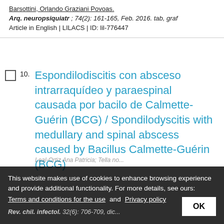Barsottini, Orlando Graziani Povoas.
Arq. neuropsiquiatr; 74(2): 161-165, Feb. 2016. tab, graf
Article in English | LILACS | ID: lil-776447
10. Espondilodiscitis con absceso intrarraquídeo y paraespinal causada por bacilo de Calmette-Guérin (BCG) / Spondilodyscitis with medullary and spinal abscess caused by Bacillus Calmette-Guérin (BCG)
This website makes use of cookies to enhance browsing experience and provide additional functionality. For more details, see ours:
Terms and conditions for the use  and  Privacy policy
OK